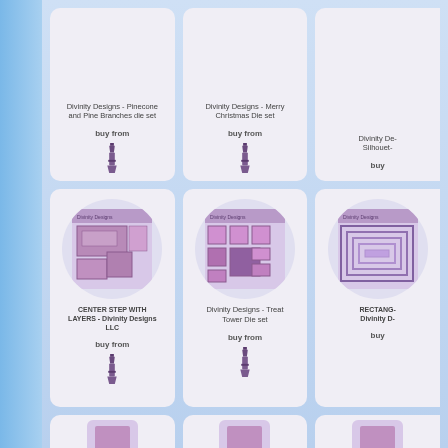Divinity Designs - Pinecone and Pine Branches die set
buy from
Divinity Designs - Merry Christmas Die set
buy from
Divinity De- Silhouet-
buy
[Figure (illustration): Divinity Designs product packaging showing CENTER STEP WITH LAYERS die set with purple geometric shapes]
CENTER STEP WITH LAYERS - Divinity Designs LLC
buy from
[Figure (illustration): Divinity Designs product packaging showing Treat Tower die set with purple box-shaped dies]
Divinity Designs - Treat Tower Die set
buy from
[Figure (illustration): Divinity Designs product packaging showing RECTANGL- die set with purple nested rectangular dies]
RECTANG- Divinity D-
buy